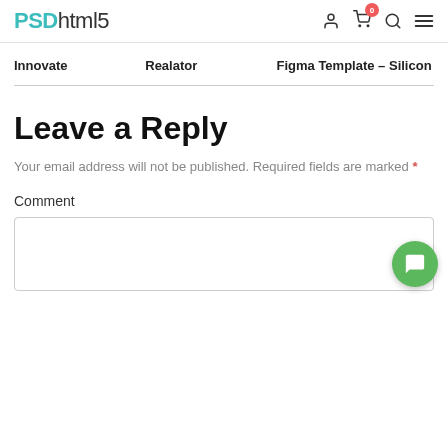PSDhtml5
Innovate
Realator
Figma Template – Silicon
Leave a Reply
Your email address will not be published. Required fields are marked *
Comment